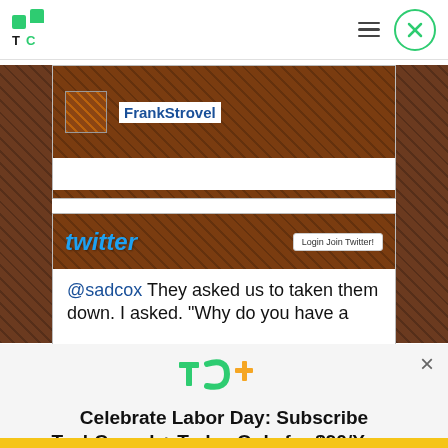[Figure (screenshot): TechCrunch website header with TC logo, hamburger menu, and close button]
[Figure (screenshot): Twitter profile page screenshot showing FrankStrovel username with avatar against chocolate bar background]
[Figure (screenshot): Twitter page screenshot showing @sadcox tweet: 'They asked us to taken them down. I asked. Why do you have a']
[Figure (logo): TC+ logo in green]
Celebrate Labor Day: Subscribe TechCrunch+ Today Only for $90/Year.
GET OFFER NOW